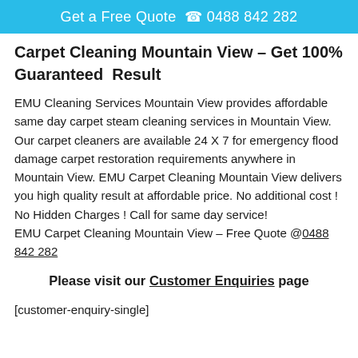Get a Free Quote  📞 0488 842 282
Carpet Cleaning Mountain View – Get 100% Guaranteed  Result
EMU Cleaning Services Mountain View provides affordable same day carpet steam cleaning services in Mountain View. Our carpet cleaners are available 24 X 7 for emergency flood damage carpet restoration requirements anywhere in Mountain View. EMU Carpet Cleaning Mountain View delivers you high quality result at affordable price. No additional cost ! No Hidden Charges ! Call for same day service!
EMU Carpet Cleaning Mountain View – Free Quote @0488 842 282
Please visit our Customer Enquiries page
[customer-enquiry-single]